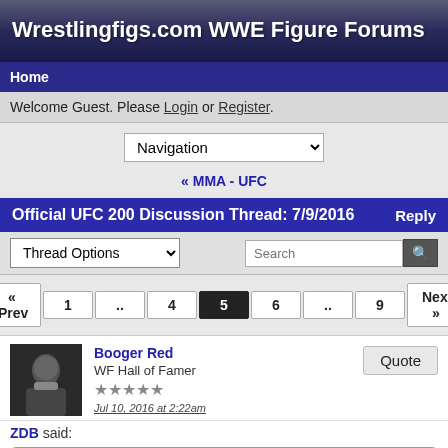Wrestlingfigs.com WWE Figure Forums
Home
Welcome Guest. Please Login or Register.
Navigation
« MMA - UFC
Official UFC 200 Discussion Thread: 7/9/2016
Thread Options | Search
« Prev  1  ..  4  5  6  ..  9  Next »
Booger Red
WF Hall of Famer
★★★★★
Jul 10, 2016 at 2:22am
ZDB said:

This mat is disgusting

Was hoping it was prelims only or something